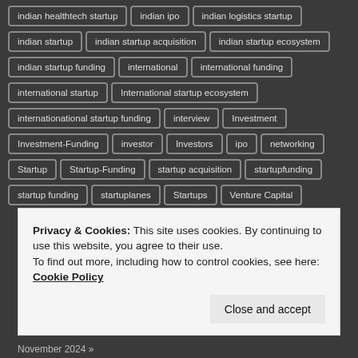indian healthtech startup
indian ipo
indian logistics startup
indian startup
indian startup acquisition
indian startup ecosystem
indian startup funding
international
international funding
international startup
International startup ecosystem
internationational startup funding
interview
Investment
Investment-Funding
investor
Investors
ipo
networking
Startup
Startup-Funding
startup acquisition
startupfunding
startup funding
startuplanes
Startups
Venture Capital
Privacy & Cookies: This site uses cookies. By continuing to use this website, you agree to their use.
To find out more, including how to control cookies, see here: Cookie Policy
Close and accept